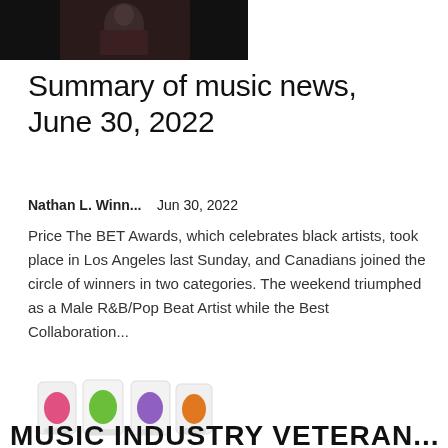[Figure (photo): Dark background photo showing a person, cropped at top of page]
Summary of music news, June 30, 2022
Nathan L. Winn...    Jun 30, 2022
Price The BET Awards, which celebrates black artists, took place in Los Angeles last Sunday, and Canadians joined the circle of winners in two categories. The weekend triumphed as a Male R&B/Pop Beat Artist while the Best Collaboration...
[Figure (photo): Four colorful beverage cans with pink, green, purple, and orange labels on white background]
MUSIC INDUSTRY VETERAN...